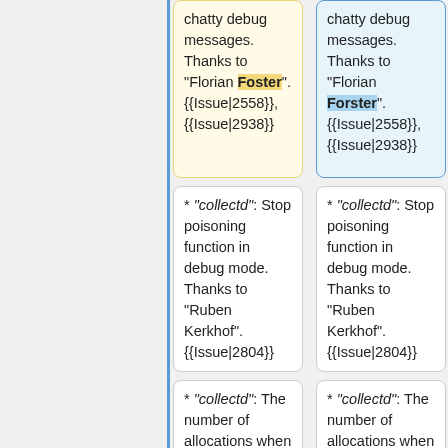chatty debug messages. Thanks to "Florian Foster". {{Issue|2558}}, {{Issue|2938}}
chatty debug messages. Thanks to "Florian Forster". {{Issue|2558}}, {{Issue|2938}}
* "collectd": Stop poisoning function in debug mode. Thanks to "Ruben Kerkhof". {{Issue|2804}}
* "collectd": Stop poisoning function in debug mode. Thanks to "Ruben Kerkhof". {{Issue|2804}}
* "collectd": The number of allocations when parsing types.db has been reduced. Thanks to "Ruben Kerkhof". {{Issue|2991}}
* "collectd": The number of allocations when parsing types.db has been reduced. Thanks to "Ruben Kerkhof". {{Issue|2991}}